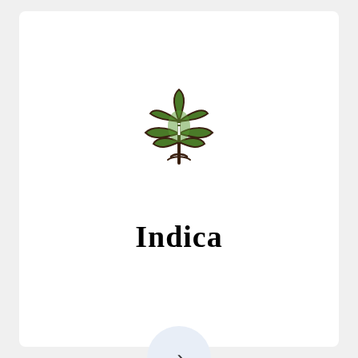[Figure (illustration): Cannabis/marijuana leaf icon with a white letter 'i' in the center, rendered in green and dark brown outline, shown as a logo/icon]
Indica
[Figure (other): A circular light blue/grey navigation button with a right-pointing chevron arrow (›) in the center]